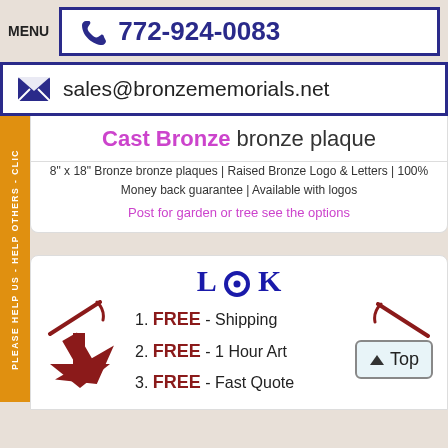MENU  772-924-0083
sales@bronzememorials.net
Cast Bronze bronze plaque
8" x 18" Bronze bronze plaques | Raised Bronze Logo & Letters | 100% Money back guarantee | Available with logos
Post for garden or tree see the options
[Figure (infographic): LOOK header with devil horn decorations and large red arrows pointing down, listing FREE Shipping, FREE 1 Hour Art, FREE Fast Quote]
1. FREE - Shipping
2. FREE - 1 Hour Art
3. FREE - Fast Quote